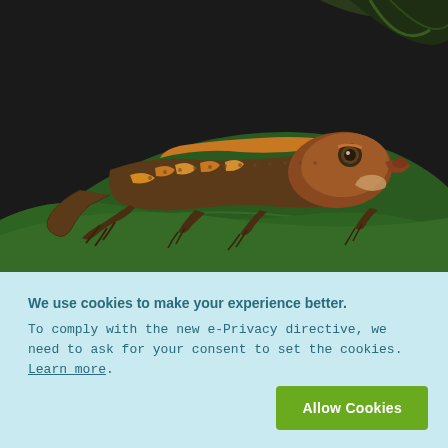[Figure (photo): Close-up photograph of a crested gecko with brown and orange/yellow patterned scales, sitting on a large green leaf against a dark background.]
We use cookies to make your experience better. To comply with the new e-Privacy directive, we need to ask for your consent to set the cookies. Learn more.